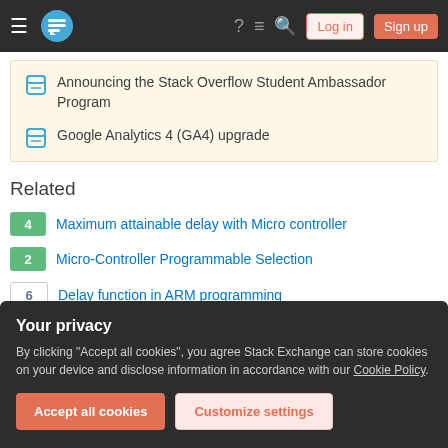Stack Overflow navigation bar with hamburger menu, logo, help, chat, search icons, Log in and Sign up buttons
Announcing the Stack Overflow Student Ambassador Program
Google Analytics 4 (GA4) upgrade
Related
4 Maximum attainable delay with Micro controller
2 Micro-Controller Programmable Selection
6 Delay function in ARM programming
Your privacy
By clicking "Accept all cookies", you agree Stack Exchange can store cookies on your device and disclose information in accordance with our Cookie Policy.
Accept all cookies | Customize settings